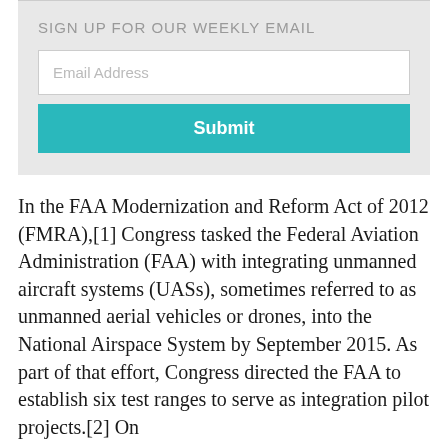[Figure (screenshot): Email signup widget with heading 'SIGN UP FOR OUR WEEKLY EMAIL', an email address input field, and a teal Submit button]
In the FAA Modernization and Reform Act of 2012 (FMRA),[1] Congress tasked the Federal Aviation Administration (FAA) with integrating unmanned aircraft systems (UASs), sometimes referred to as unmanned aerial vehicles or drones, into the National Airspace System by September 2015. As part of that effort, Congress directed the FAA to establish six test ranges to serve as integration pilot projects.[2] On February 14, 2013, the FAA issued a notice...